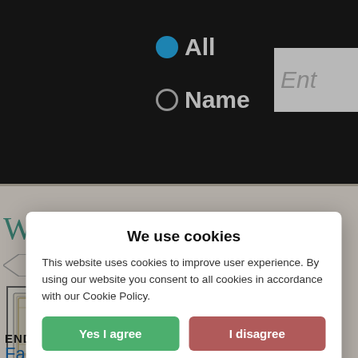[Figure (screenshot): Dark navigation bar with radio buttons for 'All' and 'Name' search options, and a partially visible text input box]
What does Fabyan mean?
[Figure (illustration): Decorative initial letter F in ornate bordered box]
Fabyan is a Boys name. Fabyan is an alternate s...
Fabius...
ENDS WITH -yan
[Figure (screenshot): Cookie consent modal dialog with title 'We use cookies', descriptive text, Yes I agree button, I disagree button, Read more button, and footer text 'Free cookie consent by cookie-script.com']